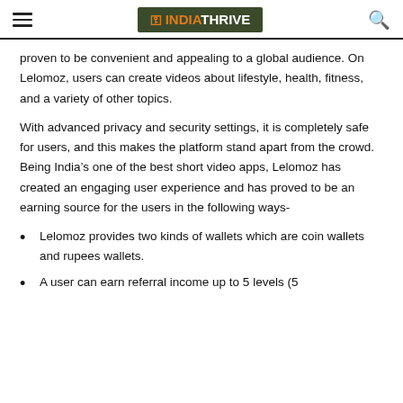IT INDIATHRIVE
proven to be convenient and appealing to a global audience. On Lelomoz, users can create videos about lifestyle, health, fitness, and a variety of other topics.
With advanced privacy and security settings, it is completely safe for users, and this makes the platform stand apart from the crowd. Being India’s one of the best short video apps, Lelomoz has created an engaging user experience and has proved to be an earning source for the users in the following ways-
Lelomoz provides two kinds of wallets which are coin wallets and rupees wallets.
A user can earn referral income up to 5 levels (5